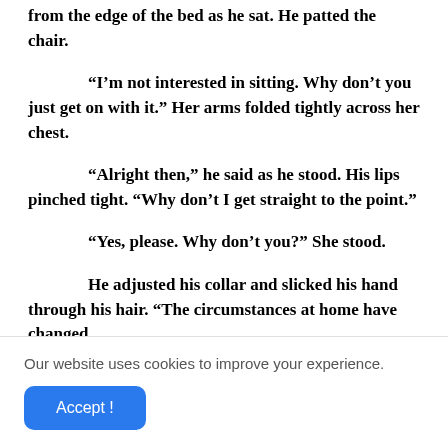from the edge of the bed as he sat. He patted the chair.
“I’m not interested in sitting. Why don’t you just get on with it.” Her arms folded tightly across her chest.
“Alright then,” he said as he stood. His lips pinched tight. “Why don’t I get straight to the point.”
“Yes, please. Why don’t you?” She stood.
He adjusted his collar and slicked his hand through his hair. “The circumstances at home have changed
Our website uses cookies to improve your experience.
Accept !